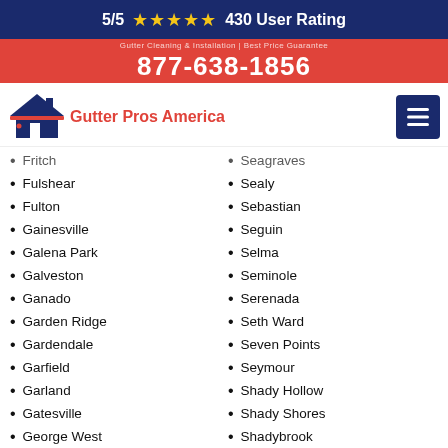5/5 ★★★★★ 430 User Rating
877-638-1856
[Figure (logo): Gutter Pros America logo with house icon]
Fritch
Fulshear
Fulton
Gainesville
Galena Park
Galveston
Ganado
Garden Ridge
Gardendale
Garfield
Garland
Gatesville
George West
Georgetown
Seagraves
Sealy
Sebastian
Seguin
Selma
Seminole
Serenada
Seth Ward
Seven Points
Seymour
Shady Hollow
Shady Shores
Shadybrook
Shallowater